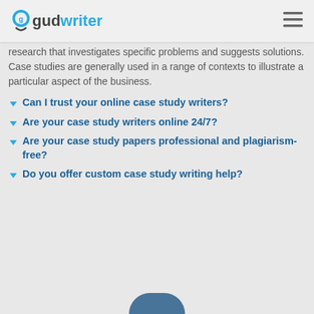gudwriter
research that investigates specific problems and suggests solutions. Case studies are generally used in a range of contexts to illustrate a particular aspect of the business.
Can I trust your online case study writers?
Are your case study writers online 24/7?
Are your case study papers professional and plagiarism-free?
Do you offer custom case study writing help?